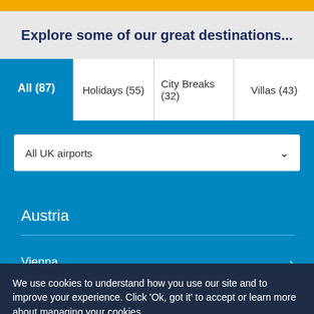Explore some of our great destinations...
All (87)
Holidays (55)
City Breaks (32)
Villas (43)
All UK airports
Austria
Vienna
We use cookies to understand how you use our site and to improve your experience. Click 'Ok, got it' to accept or learn more about managing your cookies.
Learn more
Ok, got it